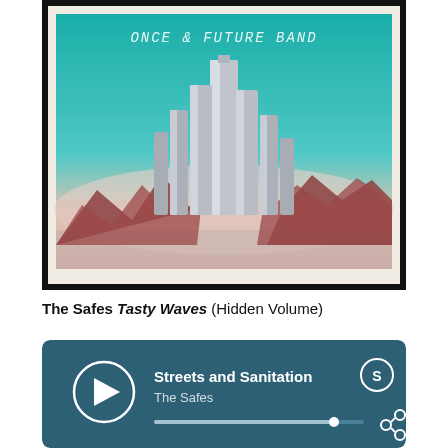[Figure (illustration): Album cover for Once & Future Band showing abstract 3D silver/grey rectangular pillar structures rising from a misty landscape with dark red mountains and a teal to peach gradient sky. The text 'ONCE & FUTURE BAND' is handwritten in white at the top.]
The Safes Tasty Waves (Hidden Volume)
[Figure (screenshot): Spotify-style music player widget with dark teal background showing track 'Streets and Sanitation' by The Safes, with a play button circle on the left, Spotify logo icon top right, share icon, and a progress bar at the bottom.]